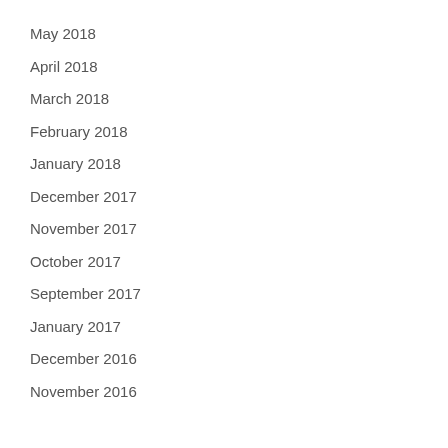May 2018
April 2018
March 2018
February 2018
January 2018
December 2017
November 2017
October 2017
September 2017
January 2017
December 2016
November 2016